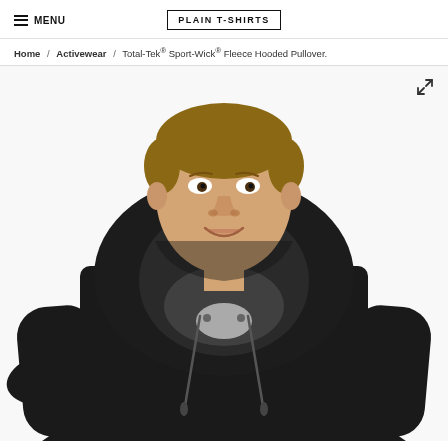MENU | PLAIN T-SHIRTS
Home / Activewear / Total-Tek® Sport-Wick® Fleece Hooded Pullover.
[Figure (photo): Young male model wearing a black fleece hooded pullover sweatshirt, photographed from waist up against a white background. The hoodie has a front kangaroo pocket area and drawstrings.]